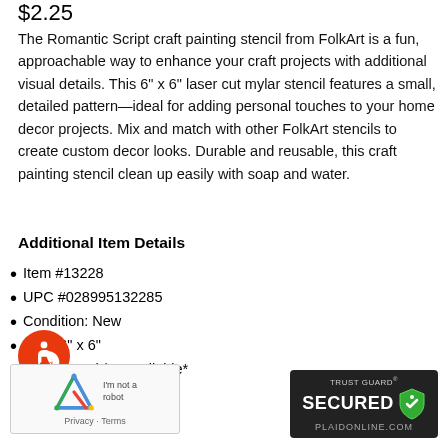$2.25
The Romantic Script craft painting stencil from FolkArt is a fun, approachable way to enhance your craft projects with additional visual details. This 6" x 6" laser cut mylar stencil features a small, detailed pattern—ideal for adding personal touches to your home decor projects. Mix and match with other FolkArt stencils to create custom decor looks. Durable and reusable, this craft painting stencil clean up easily with soap and water.
Additional Item Details
Item #13228
UPC #028995132285
Condition: New
Size: 6" x 6"
Out of Stock/Unavailable*
[Figure (logo): Accessibility icon - person in wheelchair on orange circle]
[Figure (logo): reCAPTCHA widget with Privacy - Terms text]
[Figure (logo): Trust Guard Secured badge - PLAIDONLINE.COM]